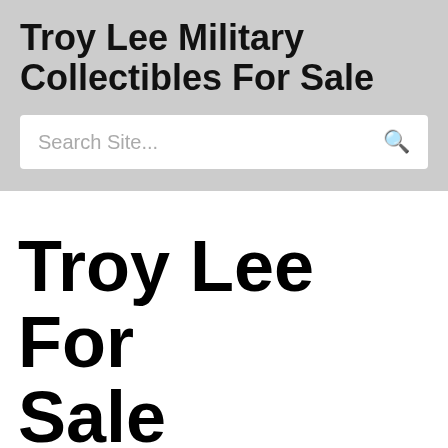Troy Lee Military Collectibles For Sale
Search Site...
Troy Lee For Sale